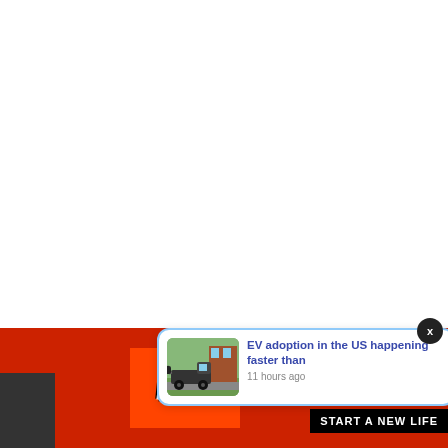[Figure (screenshot): White empty upper area of a webpage]
[Figure (screenshot): Notification popup: EV adoption in the US happening faster than - 11 hours ago, with tow truck thumbnail]
EV adoption in the US happening faster than
11 hours ago
RECENT DEA
[Figure (screenshot): Bottom bar with FAIL text image and START A NEW LIFE button]
START A NEW LIFE
x